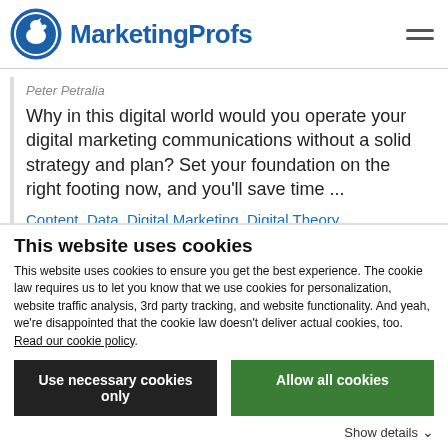MarketingProfs
Peter Petralia
Why in this digital world would you operate your digital marketing communications without a solid strategy and plan? Set your foundation on the right footing now, and you'll save time ...
Content, Data, Digital Marketing, Digital Theory, Marketing Planning, Marketing Plans, Marketing Strategy, Measurement
This website uses cookies
This website uses cookies to ensure you get the best experience. The cookie law requires us to let you know that we use cookies for personalization, website traffic analysis, 3rd party tracking, and website functionality. And yeah, we're disappointed that the cookie law doesn't deliver actual cookies, too. Read our cookie policy.
Use necessary cookies only
Allow all cookies
Show details